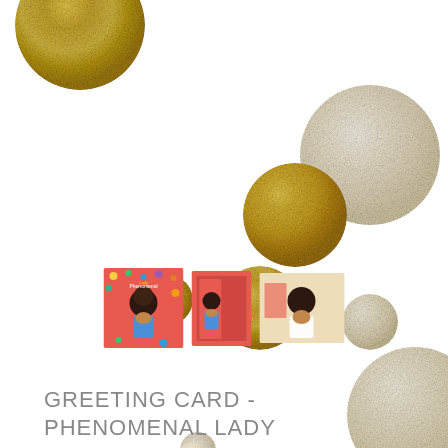[Figure (illustration): Decorative arrangement of gold and cream/ivory metallic circles of varying sizes scattered across white background, with three small product images of greeting cards in the lower center area]
GREETING CARD - PHENOMENAL LADY